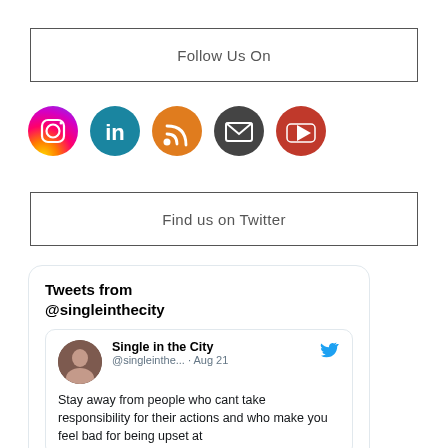Follow Us On
[Figure (infographic): Row of 5 social media icon circles: Instagram (gradient orange/purple), LinkedIn (teal/blue), RSS (orange), Email (dark grey), YouTube (red)]
Find us on Twitter
Tweets from @singleinthecity
Single in the City @singleinthe... · Aug 21 Stay away from people who cant take responsibility for their actions and who make you feel bad for being upset at them about their actions.